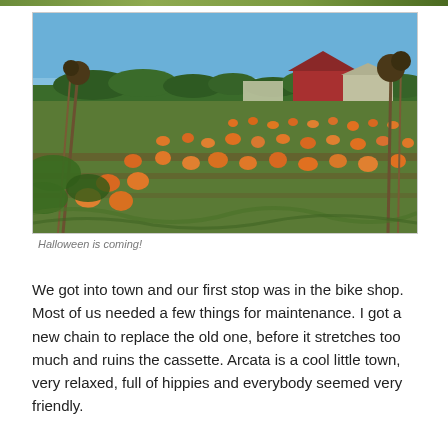[Figure (photo): A pumpkin patch on a sunny day, with orange pumpkins spread across a green field. Dried sunflower stalks in the foreground, a red barn and trees visible in the background under a blue sky.]
Halloween is coming!
We got into town and our first stop was in the bike shop. Most of us needed a few things for maintenance. I got a new chain to replace the old one, before it stretches too much and ruins the cassette. Arcata is a cool little town, very relaxed, full of hippies and everybody seemed very friendly.